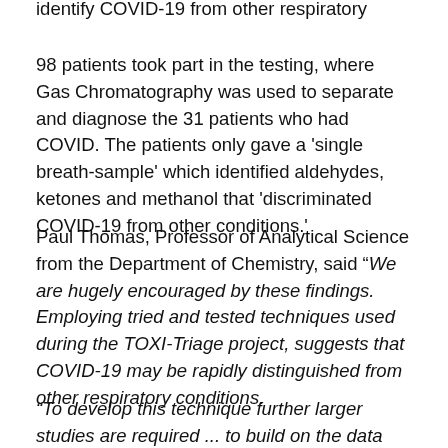identify COVID-19 from other respiratory conditions.
98 patients took part in the testing, where Gas Chromatography was used to separate and diagnose the 31 patients who had COVID. The patients only gave a 'single breath-sample' which identified aldehydes, ketones and methanol that 'discriminated COVID-19 from other conditions.'
Paul Thomas, Professor of Analytical Science from the Department of Chemistry, said "We are hugely encouraged by these findings. Employing tried and tested techniques used during the TOXI-Triage project, suggests that COVID-19 may be rapidly distinguished from other respiratory conditions.
“To develop this technique further larger studies are required ... to build on the data collected so far.